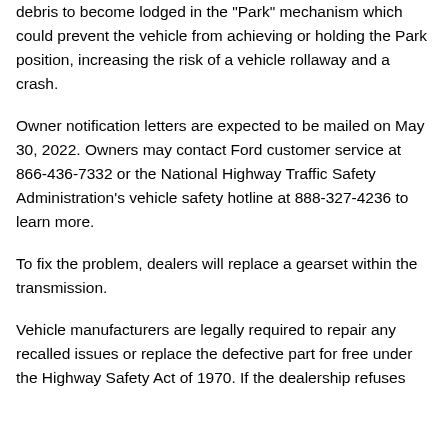debris to become lodged in the "Park" mechanism which could prevent the vehicle from achieving or holding the Park position, increasing the risk of a vehicle rollaway and a crash.
Owner notification letters are expected to be mailed on May 30, 2022. Owners may contact Ford customer service at 866-436-7332 or the National Highway Traffic Safety Administration's vehicle safety hotline at 888-327-4236 to learn more.
To fix the problem, dealers will replace a gearset within the transmission.
Vehicle manufacturers are legally required to repair any recalled issues or replace the defective part for free under the Highway Safety Act of 1970. If the dealership refuses